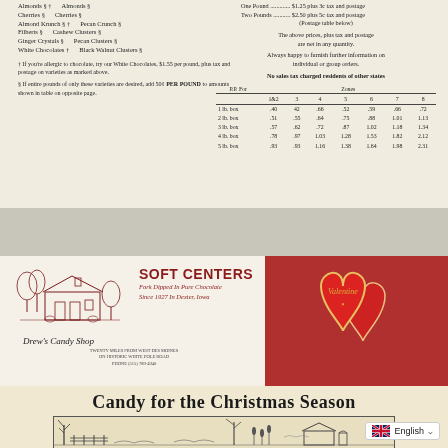[Figure (other): Top section of a candy shop flyer showing product list on left and pricing/postage table on right. Products include Almonds, Cherries, Almond Krunch, Filberts, Ginger Crystals, White Chocolates, Pecan Crunch, Cashew Clusters, Pecan Clusters, Black Walnut Clusters. Pricing: One Pound $1.25 plus 3c tax and postage, Two Pounds $2.50 plus 5c tax and postage. Postage table with zones 1&2 through 8 for box sizes 1-5 lb.]
[Figure (other): Middle section showing Drew's Candy Shop advertisement with illustration of a building, SOFT CENTERS heading in bold red, subtitle 'Fork Dipped In Pure Chocolate Since 1927 In Dexter, Iowa', shop name and address. Right half shows a red heart-shaped Valentine's Day candy box.]
Candy for the Christmas Season
[Figure (illustration): Bottom portion showing a winter Christmas scene illustration inside a bordered box, partially cut off.]